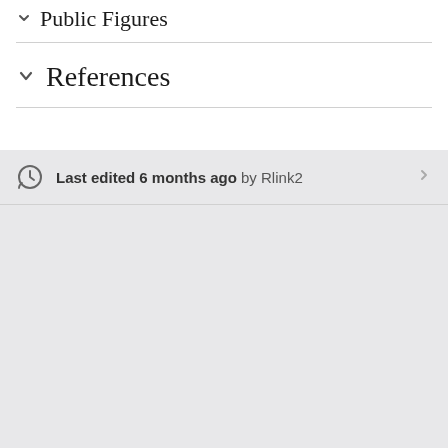Public Figures
References
Last edited 6 months ago by Rlink2